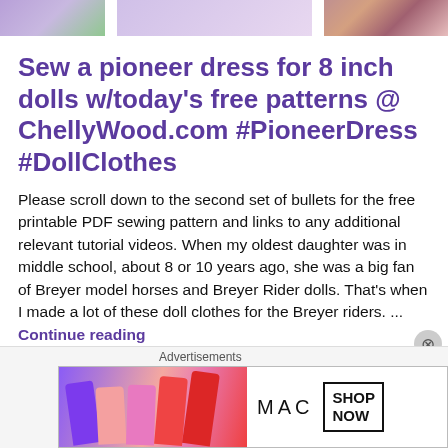[Figure (photo): Top banner strip with partial images: purple/green illustration on left, colorful products on right]
Sew a pioneer dress for 8 inch dolls w/today's free patterns @ ChellyWood.com #PioneerDress #DollClothes
Please scroll down to the second set of bullets for the free printable PDF sewing pattern and links to any additional relevant tutorial videos. When my oldest daughter was in middle school, about 8 or 10 years ago, she was a big fan of Breyer model horses and Breyer Rider dolls. That's when I made a lot of these doll clothes for the Breyer riders. ...
Continue reading
Advertisements
[Figure (photo): MAC cosmetics advertisement showing lipsticks in purple, peach, pink, and red colors with MAC logo and SHOP NOW button]